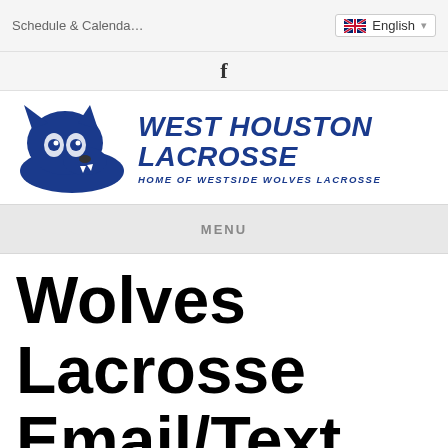Schedule & Calendar    English
[Figure (logo): West Houston Lacrosse logo with wolf mascot graphic and text: WEST HOUSTON LACROSSE, HOME OF WESTSIDE WOLVES LACROSSE]
MENU
Wolves Lacrosse Email/Text Fundraising